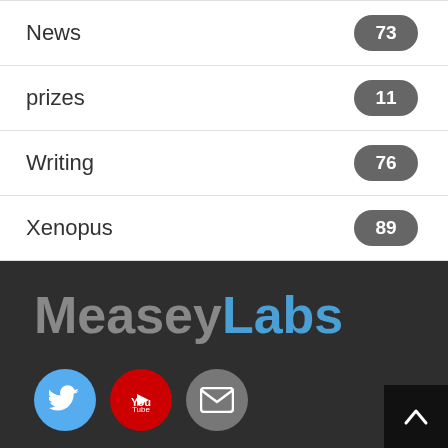News 73
prizes 11
Writing 76
Xenopus 89
MeaseyLabs — Twitter, YouTube, Email social links, Contact
Contact